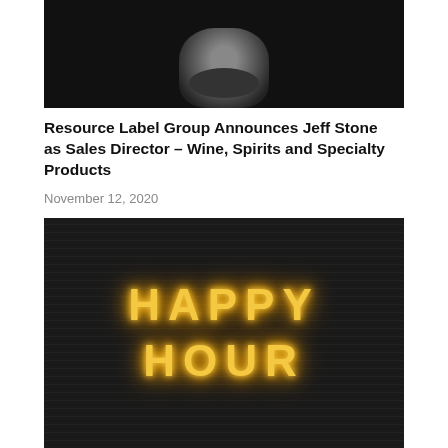[Figure (photo): Black and white portrait photo of a man with a beard, partially visible, dark background, cropped at top]
Resource Label Group Announces Jeff Stone as Sales Director – Wine, Spirits and Specialty Products
November 12, 2020
[Figure (photo): Dark photo showing neon sign reading HAPPY HOUR in golden/amber neon lettering against a dark brick-textured wall]